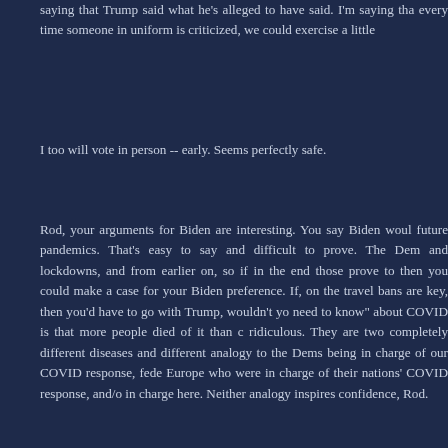saying that Trump said what he's alleged to have said. I'm saying that every time someone in uniform is criticized, we could exercise a little
I too will vote in person -- early. Seems perfectly safe.
Rod, your arguments for Biden are interesting. You say Biden would future pandemics. That's easy to say and difficult to prove. The Dems and lockdowns, and from earlier on, so if in the end those prove to then you could make a case for your Biden preference. If, on the travel bans are key, then you'd have to go with Trump, wouldn't you need to know" about COVID is that more people died of it than c ridiculous. They are two completely different diseases and different p analogy to the Dems being in charge of our COVID response, feder Europe who were in charge of their nations' COVID response, and/or in charge here. Neither analogy inspires confidence, Rod.
So you say Biden's appointees will be...better? Again, a totally neb will ignore their faults, well, I guess so.
And you say Biden will end our trade war with China, along with m cave to his Red Chinese buddies on Day One! Everyone knows t reduce some prices for American consumers? It might. It also jeopard
Jack, I certainly agree that we need to get to the bottom of these netw country. I frankly don't believe they're agents of the Democratic